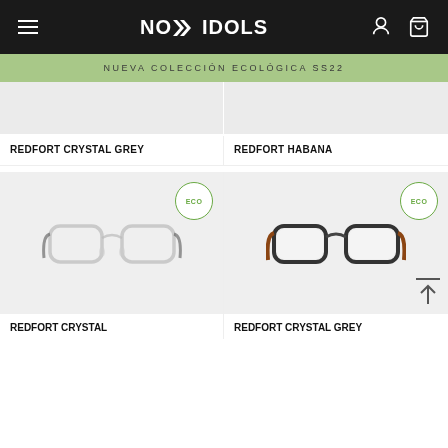NO IDOLS
NUEVA COLECCIÓN ECOLÓGICA SS22
[Figure (photo): Partial top of REDFORT CRYSTAL GREY product image (cropped at top)]
REDFORT CRYSTAL GREY
[Figure (photo): Partial top of REDFORT HABANA product image (cropped at top)]
REDFORT HABANA
[Figure (photo): REDFORT CRYSTAL eyeglasses with ECO badge — clear/transparent frame on grey background]
REDFORT CRYSTAL
[Figure (photo): REDFORT CRYSTAL GREY eyeglasses with ECO badge — dark frame on grey background, with scroll-to-top button]
REDFORT CRYSTAL GREY